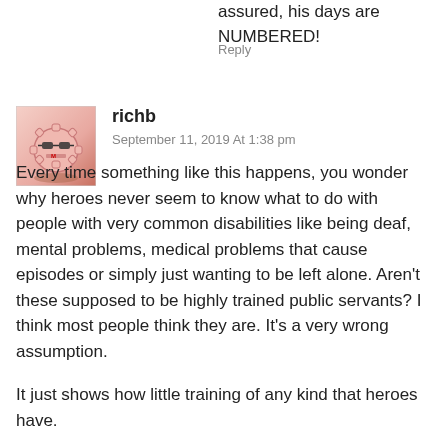assured, his days are NUMBERED!
Reply
[Figure (illustration): Pink cartoon robot/character avatar with sunglasses, used as a commenter profile picture]
richb
September 11, 2019 At 1:38 pm
Every time something like this happens, you wonder why heroes never seem to know what to do with people with very common disabilities like being deaf, mental problems, medical problems that cause episodes or simply just wanting to be left alone. Aren't these supposed to be highly trained public servants? I think most people think they are. It's a very wrong assumption.
It just shows how little training of any kind that heroes have.
I think people would be appalled how little training